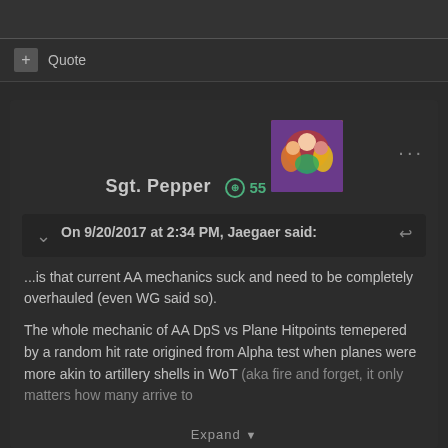Quote
Sgt. Pepper  +55
[Figure (photo): Avatar/profile image for user Sgt. Pepper, colorful group photo]
On 9/20/2017 at 2:34 PM, Jaegaer said:
...is that current AA mechanics suck and need to be completely overhauled (even WG said so).

The whole mechanic of AA DpS vs Plane Hitpoints temepered by a random hit rate origined from Alpha test when planes were more akin to artillery shells in WoT (aka fire and forget, it only matters how many arrive to
Expand